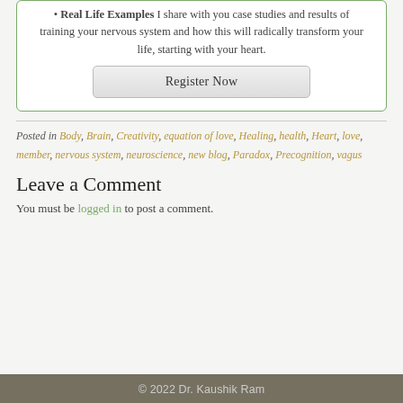Real Life Examples I share with you case studies and results of training your nervous system and how this will radically transform your life, starting with your heart.
Register Now
Posted in Body, Brain, Creativity, equation of love, Healing, health, Heart, love, member, nervous system, neuroscience, new blog, Paradox, Precognition, vagus
Leave a Comment
You must be logged in to post a comment.
© 2022 Dr. Kaushik Ram